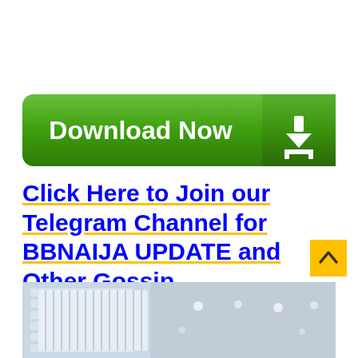[Figure (illustration): Green 'Download Now' button with white text and a white download arrow icon on the right side]
Click Here to Join our Telegram Channel for BBNAIJA UPDATE and Other Gossip
[Figure (photo): Partial photo of an indoor space, blurred background with ceiling lights visible]